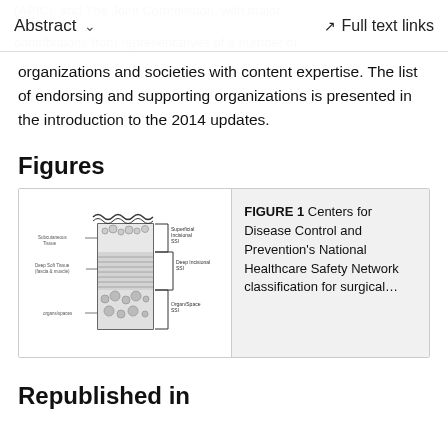Abstract ∨   Full text links
(APIC); and The Joint Commission, with major contributions from representatives of a number of organizations and societies with content expertise. The list of endorsing and supporting organizations is presented in the introduction to the 2014 updates.
Figures
[Figure (illustration): Diagram showing CDC/NHSN classification for surgical site infections with anatomical cross-section layers labeled: Superficial Incisional SSI, Deep Incisional SSI, Organ/Space SSI, with tissue layers indicated.]
FIGURE 1 Centers for Disease Control and Prevention's National Healthcare Safety Network classification for surgical...
Republished in